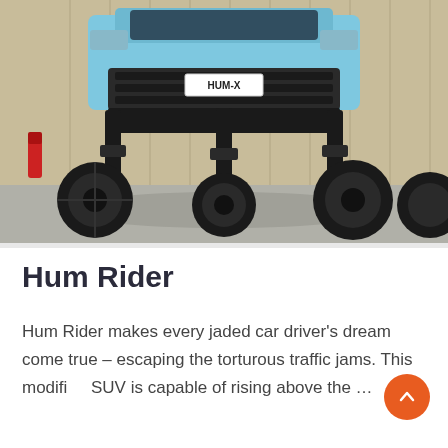[Figure (photo): A light blue SUV (Jeep Grand Cherokee) elevated high off the ground on extended hydraulic stilts/legs, with all four wheels visible and splayed out wide. The license plate reads HUM-X. The vehicle is photographed from the front-low angle in a parking lot near a corrugated metal building. A red fire extinguisher is visible in the background.]
Hum Rider
Hum Rider makes every jaded car driver's dream come true – escaping the torturous traffic jams. This modified SUV is capable of rising above the …